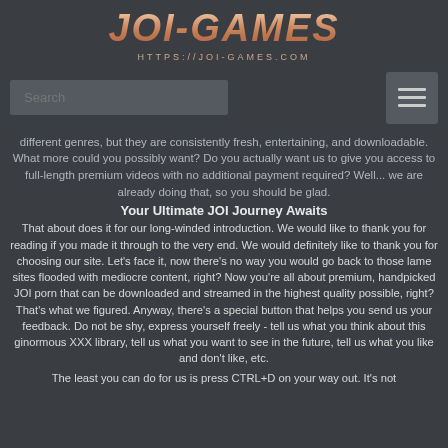[Figure (logo): JOI-GAMES logo with stylized italic bold text and URL https://joi-games.com below]
Search
different genres, but they are consistently fresh, entertaining, and downloadable. What more could you possibly want? Do you actually want us to give you access to full-length premium videos with no additional payment required? Well... we are already doing that, so you should be glad.
Your Ultimate JOI Journey Awaits
That about does it for our long-winded introduction. We would like to thank you for reading if you made it through to the very end. We would definitely like to thank you for choosing our site. Let's face it, now there's no way you would go back to those lame sites flooded with mediocre content, right? Now you're all about premium, handpicked JOI porn that can be downloaded and streamed in the highest quality possible, right? That's what we figured. Anyway, there's a special button that helps you send us your feedback. Do not be shy, express yourself freely - tell us what you think about this ginormous XXX library, tell us what you want to see in the future, tell us what you like and don't like, etc.
The least you can do for us is press CTRL+D on your way out. It's not